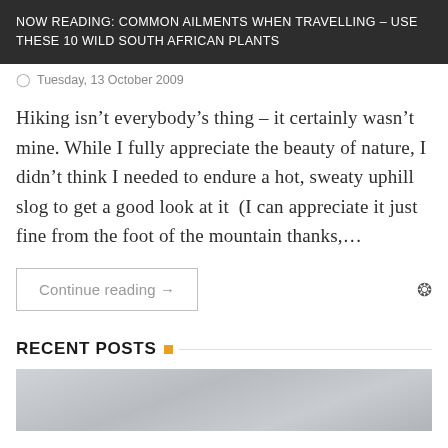NOW READING: COMMON AILMENTS WHEN TRAVELLING – USE THESE 10 WILD SOUTH AFRICAN PLANTS
Tuesday, 13 October 2009
Hiking isn't everybody's thing – it certainly wasn't mine. While I fully appreciate the beauty of nature, I didn't think I needed to endure a hot, sweaty uphill slog to get a good look at it  (I can appreciate it just fine from the foot of the mountain thanks,...
Continue reading →
RECENT POSTS
[Figure (photo): Partial view of a cloudy sky, grey tones, bottom portion of image cut off]